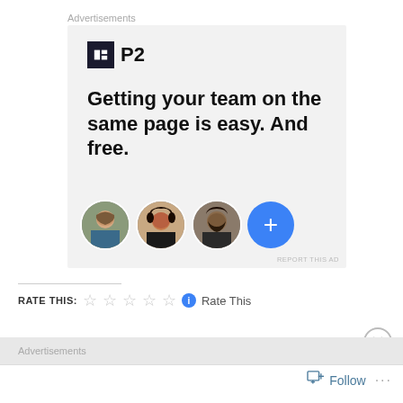Advertisements
[Figure (screenshot): P2 advertisement banner. Shows P2 logo (dark square with H icon and 'P2' text), bold headline 'Getting your team on the same page is easy. And free.', and a row of three circular profile photos followed by a blue '+' button circle.]
REPORT THIS AD
RATE THIS: ☆☆☆☆☆ ℹ Rate This
Advertisements
Follow